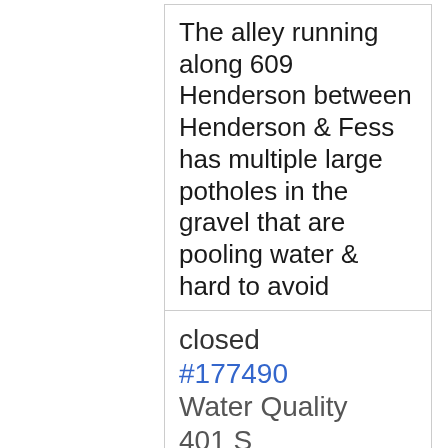The alley running along 609 Henderson between Henderson & Fess has multiple large potholes in the gravel that are pooling water & hard to avoid
closed #177490 Water Quality 401 S